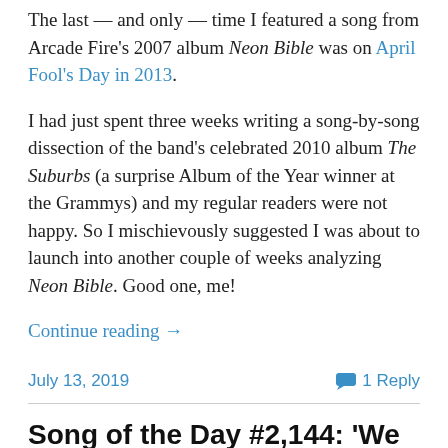The last — and only — time I featured a song from Arcade Fire's 2007 album Neon Bible was on April Fool's Day in 2013.
I had just spent three weeks writing a song-by-song dissection of the band's celebrated 2010 album The Suburbs (a surprise Album of the Year winner at the Grammys) and my regular readers were not happy. So I mischievously suggested I was about to launch into another couple of weeks analyzing Neon Bible. Good one, me!
Continue reading →
July 13, 2019
1 Reply
Song of the Day #2,144: 'We